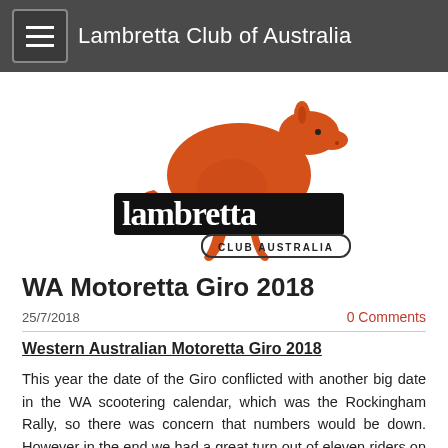Lambretta Club of Australia
[Figure (logo): Lambretta Club Australia logo with orange kangaroo silhouette above the Lambretta wordmark and 'CLUB AUSTRALIA' text]
WA Motoretta Giro 2018
25/7/2018
0 Comments
Western Australian Motoretta Giro 2018
This year the date of the Giro conflicted with another big date in the WA scootering calendar, which was the Rockingham Rally, so there was concern that numbers would be down. However in the end we had a great turn out of eleven riders on a wonderful crisp Sunday morning. The view from Gooseberry Hill was magnificent and Tony Wong captured it all beautifully on his video of the morning. Harry